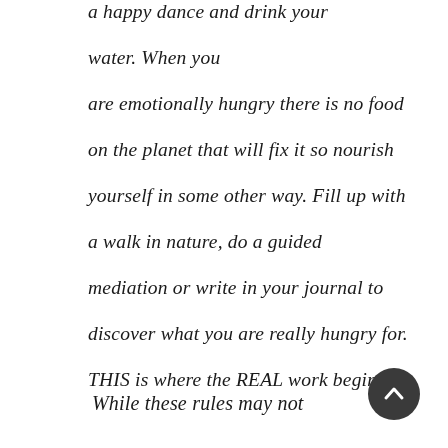a happy dance and drink your water. When you are emotionally hungry there is no food on the planet that will fix it so nourish yourself in some other way. Fill up with a walk in nature, do a guided mediation or write in your journal to discover what you are really hungry for. THIS is where the REAL work begins.
While these rules may not